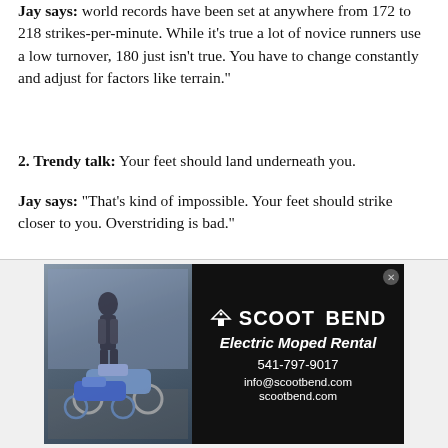Jay says: world records have been set at anywhere from 172 to 218 strikes-per-minute. While it's true a lot of novice runners use a low turnover, 180 just isn't true. You have to change constantly and adjust for factors like terrain."
2. Trendy talk: Your feet should land underneath you.
Jay says: "That's kind of impossible. Your feet should strike closer to you. Overstriding is bad."
3. Trendy talk: You should run on your toes.
Jay says: "I don't really care how you run. I'm looking for decreased load and greater efficiency. For me that's a win. It doesn't so much matter if you're a fore, mid or rear-foot striker."
[Figure (photo): Advertisement for Scoot Bend Electric Moped Rental. Left side shows a photo of a person with mopeds outdoors. Right side has black background with Scoot Bend logo, 'Electric Moped Rental' tagline, phone number 541-797-9017, info@scootbend.com, scootbend.com]